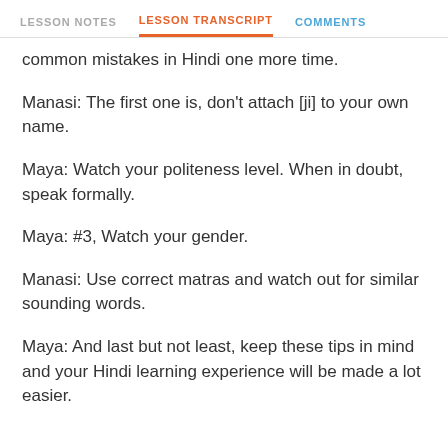LESSON NOTES   LESSON TRANSCRIPT   COMMENTS
common mistakes in Hindi one more time.
Manasi: The first one is, don't attach [ji] to your own name.
Maya: Watch your politeness level. When in doubt, speak formally.
Maya: #3, Watch your gender.
Manasi: Use correct matras and watch out for similar sounding words.
Maya: And last but not least, keep these tips in mind and your Hindi learning experience will be made a lot easier.